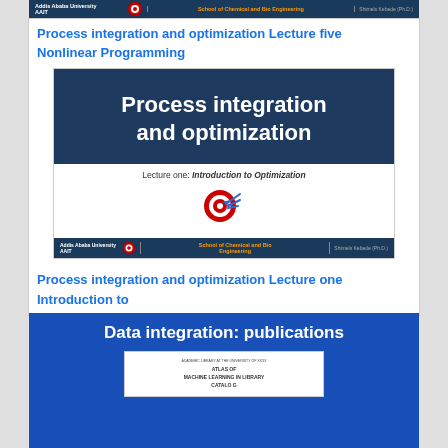[Figure (screenshot): Top header bar of a slide deck from Addis Ababa University AAIT, School of Chemical and Bio Engineering, Shimels Kebede Ph.D.]
Process integration and optimization Lecture five Nonlinear Programming
[Figure (screenshot): Slide image: dark blue background with white bold text 'Process integration and optimization', subtitle area with white background showing 'Lecture one: Introduction to Optimization' and a target/dart icon. Bottom header bar with university branding.]
Process integration and optimization Lecture one Introduction to
[Figure (screenshot): Dark blue slide with white text 'Data integration: publications' and a white inset card below with small text lines]